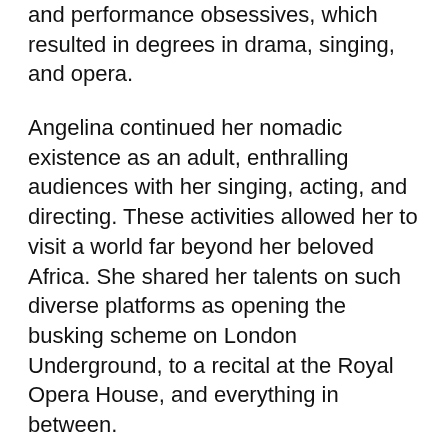and performance obsessives, which resulted in degrees in drama, singing, and opera.
Angelina continued her nomadic existence as an adult, enthralling audiences with her singing, acting, and directing. These activities allowed her to visit a world far beyond her beloved Africa. She shared her talents on such diverse platforms as opening the busking scheme on London Underground, to a recital at the Royal Opera House, and everything in between.
This led to an invitation to Buckingham Palace, no less, where Angelina met Queen Elizabeth as a reward, and in recognition of her contribution to the music, culture, and economy of the United Kingdom.
Meanwhile, her fascination and obsession with the